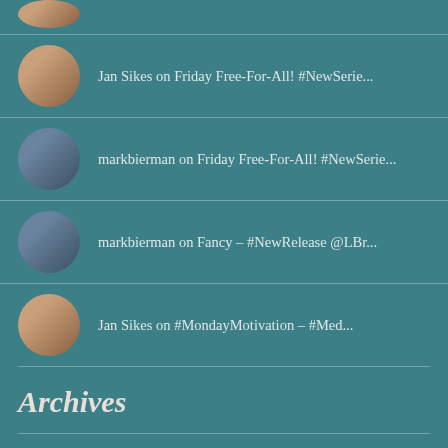Jan Sikes on Friday Free-For-All! #NewSerie...
markbierman on Friday Free-For-All! #NewSerie...
markbierman on Fancy – #NewRelease @LBr...
Jan Sikes on #MondayMotivation – #Med...
Archives
August 2022
July 2022